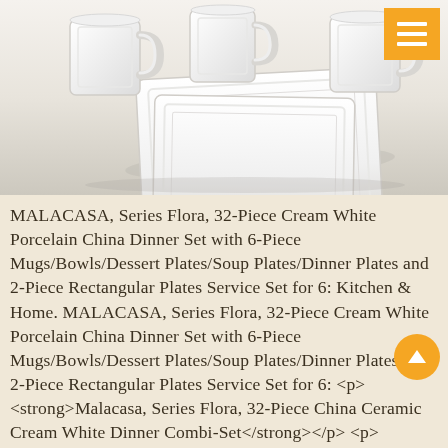[Figure (photo): White porcelain china dinnerware set including plates and mugs on a beige/cream background]
MALACASA, Series Flora, 32-Piece Cream White Porcelain China Dinner Set with 6-Piece Mugs/Bowls/Dessert Plates/Soup Plates/Dinner Plates and 2-Piece Rectangular Plates Service Set for 6: Kitchen & Home. MALACASA, Series Flora, 32-Piece Cream White Porcelain China Dinner Set with 6-Piece Mugs/Bowls/Dessert Plates/Soup Plates/Dinner Plates and 2-Piece Rectangular Plates Service Set for 6: <p><strong>Malacasa, Series Flora, 32-Piece China Ceramic Cream White Dinner Combi-Set</strong></p> <p><strong>4.5" Mug</strong><br /> L*W*H: 11.5*7.5*11cm